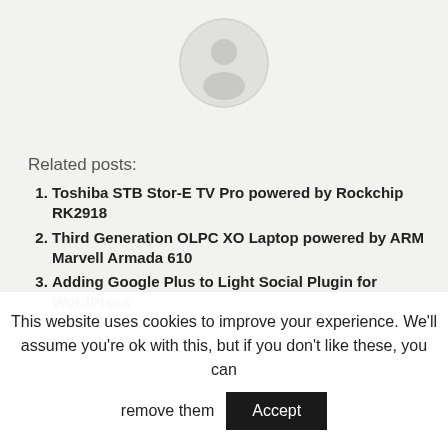[Figure (illustration): Circular avatar placeholder icon, light gray circle with faint person silhouette]
Related posts:
Toshiba STB Stor-E TV Pro powered by Rockchip RK2918
Third Generation OLPC XO Laptop powered by ARM Marvell Armada 610
Adding Google Plus to Light Social Plugin for WordPress
This website uses cookies to improve your experience. We'll assume you're ok with this, but if you don't like these, you can remove them
Accept